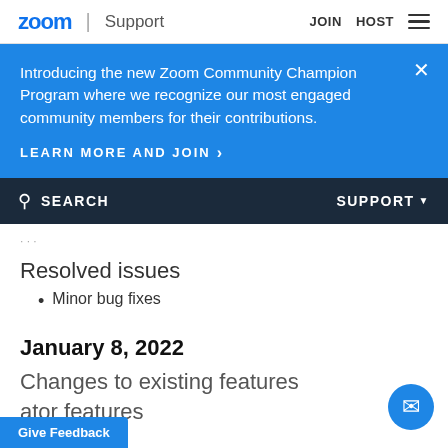zoom | Support   JOIN   HOST
Introducing the new Zoom Community Champion Program where we recognize our most engaged community members for their contributions.
LEARN MORE AND JOIN >
SEARCH   SUPPORT
Resolved issues
Minor bug fixes
January 8, 2022
Changes to existing features
ator features
Give Feedback